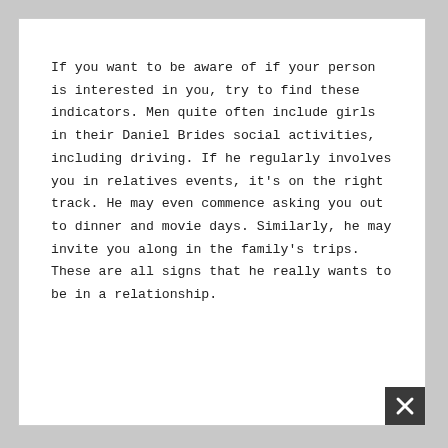If you want to be aware of if your person is interested in you, try to find these indicators. Men quite often include girls in their Daniel Brides social activities, including driving. If he regularly involves you in relatives events, it's on the right track. He may even commence asking you out to dinner and movie days. Similarly, he may invite you along in the family's trips. These are all signs that he really wants to be in a relationship.